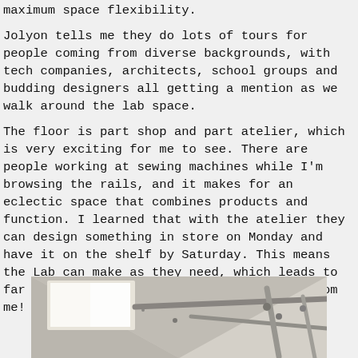maximum space flexibility.
Jolyon tells me they do lots of tours for people coming from diverse backgrounds, with tech companies, architects, school groups and budding designers all getting a mention as we walk around the lab space.
The floor is part shop and part atelier, which is very exciting for me to see. There are people working at sewing machines while I'm browsing the rails, and it makes for an eclectic space that combines products and function. I learned that with the atelier they can design something in store on Monday and have it on the shelf by Saturday. This means the Lab can make as they need, which leads to far less wastage. That's a big thumbs up from me!
[Figure (photo): Interior ceiling photo showing ceiling panels, exposed pipes/ductwork, and a bright ceiling light panel, in muted beige/grey tones.]